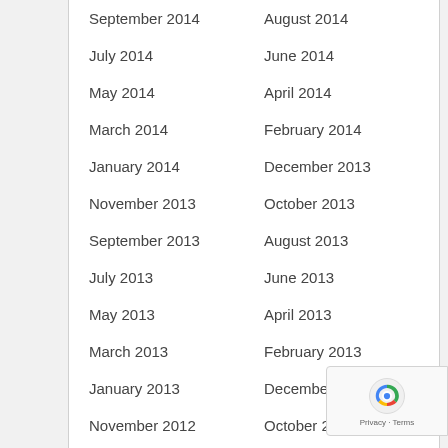September 2014
August 2014
July 2014
June 2014
May 2014
April 2014
March 2014
February 2014
January 2014
December 2013
November 2013
October 2013
September 2013
August 2013
July 2013
June 2013
May 2013
April 2013
March 2013
February 2013
January 2013
December 2012
November 2012
October 2012
September 2012
August 2012
July 2012
June 2012
May 2012
April 2012
March 2012
February 2012